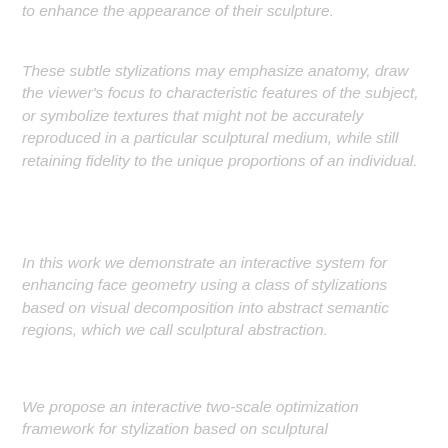to enhance the appearance of their sculpture.
These subtle stylizations may emphasize anatomy, draw the viewer's focus to characteristic features of the subject, or symbolize textures that might not be accurately reproduced in a particular sculptural medium, while still retaining fidelity to the unique proportions of an individual.
In this work we demonstrate an interactive system for enhancing face geometry using a class of stylizations based on visual decomposition into abstract semantic regions, which we call sculptural abstraction.
We propose an interactive two-scale optimization framework for stylization based on sculptural